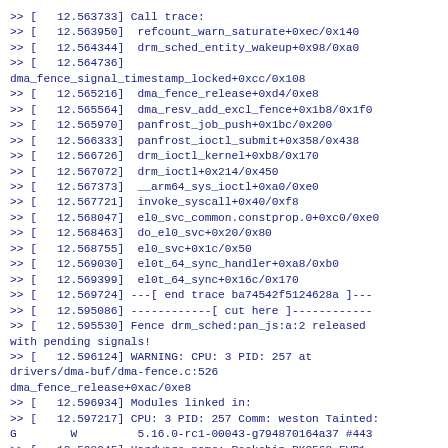>> [   12.563733] Call trace:
>> [   12.563950]  refcount_warn_saturate+0xec/0x140
>> [   12.564344]  drm_sched_entity_wakeup+0x98/0xa0
>> [   12.564736]
dma_fence_signal_timestamp_locked+0xcc/0x108
>> [   12.565216]  dma_fence_release+0xd4/0xe8
>> [   12.565564]  dma_resv_add_excl_fence+0x1b8/0x1f0
>> [   12.565970]  panfrost_job_push+0x1bc/0x200
>> [   12.566333]  panfrost_ioctl_submit+0x358/0x438
>> [   12.566726]  drm_ioctl_kernel+0xb8/0x170
>> [   12.567072]  drm_ioctl+0x214/0x450
>> [   12.567373]  __arm64_sys_ioctl+0xa0/0xe0
>> [   12.567721]  invoke_syscall+0x40/0xf8
>> [   12.568047]  el0_svc_common.constprop.0+0xc0/0xe0
>> [   12.568463]  do_el0_svc+0x20/0x80
>> [   12.568755]  el0_svc+0x1c/0x50
>> [   12.569030]  el0t_64_sync_handler+0xa8/0xb0
>> [   12.569399]  el0t_64_sync+0x16c/0x170
>> [   12.569724] ---[ end trace ba74542f5124628a ]---
>> [   12.595086] ------------[ cut here ]------------
>> [   12.595530] Fence drm_sched:pan_js:a:2 released
with pending signals!
>> [   12.596124] WARNING: CPU: 3 PID: 257 at
drivers/dma-buf/dma-fence.c:526
dma_fence_release+0xac/0xe8
>> [   12.596934] Modules linked in:
>> [   12.597217] CPU: 3 PID: 257 Comm: weston Tainted:
G        W         5.16.0-rc1-00043-g794870164a37 #443
>> [   12.598045] Hardware name: Rockchip RK3568 EVB1
DDR4 V10 Board (DT)